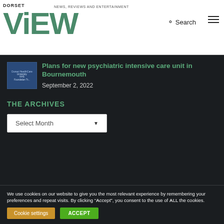DORSET ViEW — NEWS, REVIEWS AND ENTERTAINMENT
[Figure (logo): NHS Dorset HealthCare University NHS Foundation Trust logo thumbnail]
Plans for new psychiatric intensive care unit in Bournemouth
September 2, 2022
THE ARCHIVES
Select Month
We use cookies on our website to give you the most relevant experience by remembering your preferences and repeat visits. By clicking "Accept", you consent to the use of ALL the cookies.
Cookie settings   ACCEPT